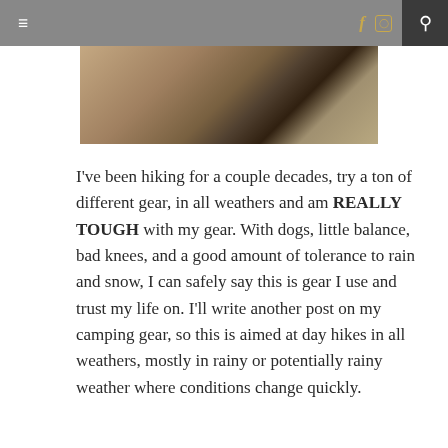≡   f  [ig]  🔍
[Figure (photo): Partial view of a hiker's legs and trekking poles on rocky terrain with hills in the background]
I've been hiking for a couple decades, try a ton of different gear, in all weathers and am REALLY TOUGH with my gear. With dogs, little balance, bad knees, and a good amount of tolerance to rain and snow, I can safely say this is gear I use and trust my life on. I'll write another post on my camping gear, so this is aimed at day hikes in all weathers, mostly in rainy or potentially rainy weather where conditions change quickly.